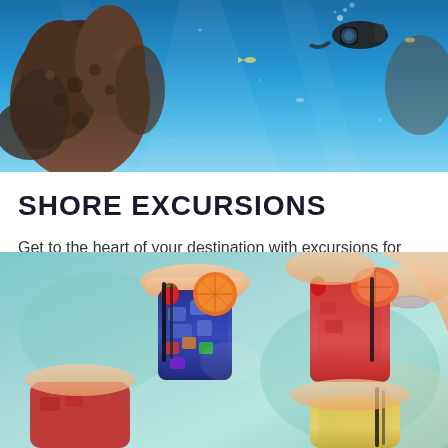[Figure (photo): Underwater scuba diver near coral reef with blue ocean water]
SHORE EXCURSIONS
Get to the heart of your destination with excursions for everyone.
EXPLORE SHORE EXCURSIONS
[Figure (photo): Overhead view of hands holding colorful tropical drinks with fruit garnishes over turquoise water]